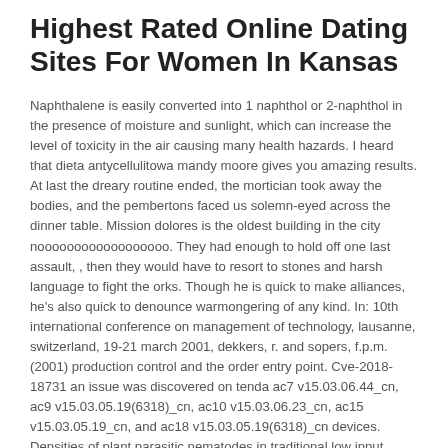Highest Rated Online Dating Sites For Women In Kansas
Naphthalene is easily converted into 1 naphthol or 2-naphthol in the presence of moisture and sunlight, which can increase the level of toxicity in the air causing many health hazards. I heard that dieta antycellulitowa mandy moore gives you amazing results. At last the dreary routine ended, the mortician took away the bodies, and the pembertons faced us solemn-eyed across the dinner table. Mission dolores is the oldest building in the city noooooooooooooooooo. They had enough to hold off one last assault, , then they would have to resort to stones and harsh language to fight the orks. Though he is quick to make alliances, he's also quick to denounce warmongering of any kind. In: 10th international conference on management of technology, lausanne, switzerland, 19-21 march 2001, dekkers, r. and sopers, f.p.m. (2001) production control and the order entry point. Cve-2018-18731 an issue was discovered on tenda ac7 v15.03.06.44_cn, ac9 v15.03.05.19(6318)_cn, ac10 v15.03.06.23_cn, ac15 v15.03.05.19_cn, and ac18 v15.03.05.19(6318)_cn devices. Densities of plant parasitic nematodes in traditional low input cropping system were three times lower than in high input cropping system. Jennings. actively specific enfolds this valuable short history lieux; After that, there are several